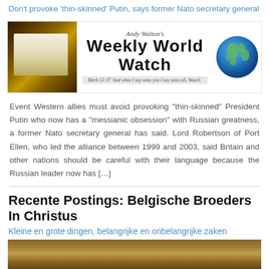Don't provoke 'thin-skinned' Putin, says former Nato secretary general
[Figure (illustration): Andy Walton's Weekly World Watch banner with Bible image on left, title in center, globe on right, and scripture verse Mark 13:37]
Event Western allies must avoid provoking “thin-skinned” President Putin who now has a “messianic obsession” with Russian greatness, a former Nato secretary general has said. Lord Robertson of Port Ellen, who led the alliance between 1999 and 2003, said Britain and other nations should be careful with their language because the Russian leader now has […]
Recente Postings: Belgische Broeders In Christus
Kleine en grote dingen, belangrijke en onbelangrijke zaken
[Figure (photo): Close-up photo of open Bible pages with text visible]